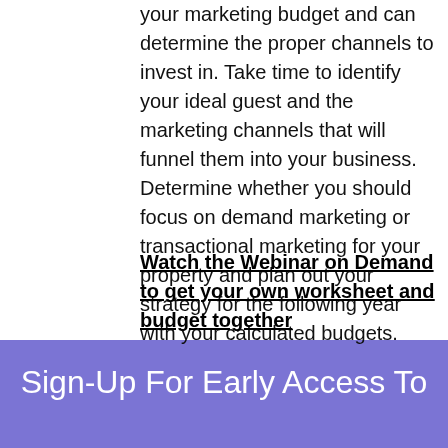your marketing budget and can determine the proper channels to invest in. Take time to identify your ideal guest and the marketing channels that will funnel them into your business. Determine whether you should focus on demand marketing or transactional marketing for your property and plan out your strategy for the following year with your calculated budgets.
Watch the Webinar on Demand to get your own worksheet and budget together
Sign-Up For Early Access To